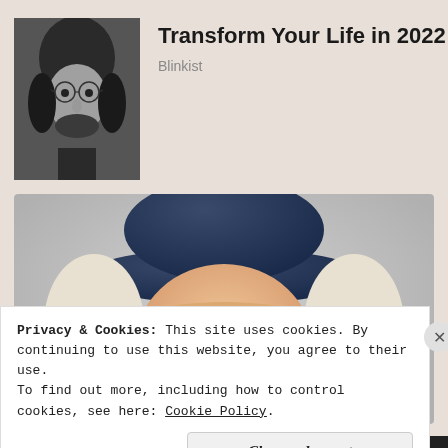[Figure (photo): Black and white photo of a young man with glasses and long hair]
Transform Your Life in 2022
Blinkist
[Figure (illustration): Illustrated portrait of the Quaker Oats man — a smiling colonial-era man with white curly hair wearing a dark blue hat]
Privacy & Cookies: This site uses cookies. By continuing to use this website, you agree to their use.
To find out more, including how to control cookies, see here: Cookie Policy
Close and accept